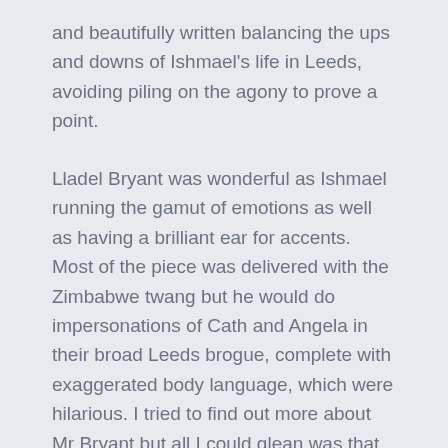and beautifully written balancing the ups and downs of Ishmael's life in Leeds, avoiding piling on the agony to prove a point.
Lladel Bryant was wonderful as Ishmael running the gamut of emotions as well as having a brilliant ear for accents. Most of the piece was delivered with the Zimbabwe twang but he would do impersonations of Cath and Angela in their broad Leeds brogue, complete with exaggerated body language, which were hilarious. I tried to find out more about Mr Bryant but all I could glean was that he is based in Leeds. I would guess that he has been based here for quite some time as our accent is one of the most difficult to master. It usually consists of the 'e bah gum' variety but Lladel had it nailed. The